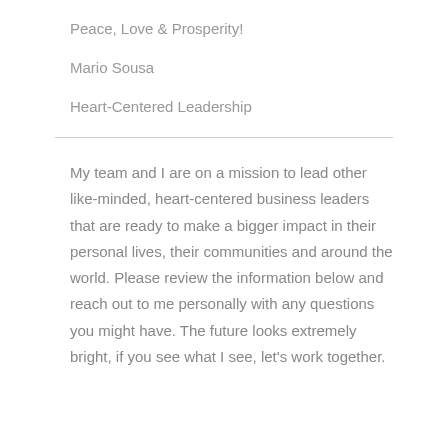Peace, Love & Prosperity!
Mario Sousa
Heart-Centered Leadership
My team and I are on a mission to lead other like-minded, heart-centered business leaders that are ready to make a bigger impact in their personal lives, their communities and around the world. Please review the information below and reach out to me personally with any questions you might have. The future looks extremely bright, if you see what I see, let's work together.